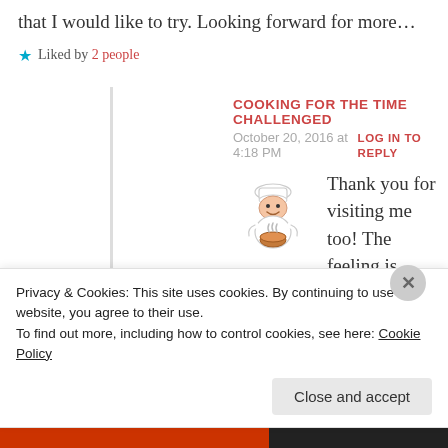that I would like to try. Looking forward for more...
Liked by 2 people
COOKING FOR THE TIME CHALLENGED
October 20, 2016 at 4:18 PM
LOG IN TO REPLY
[Figure (illustration): Avatar of a cartoon chef holding a bowl]
Thank you for visiting me too! The feeling is mutual. Looking forward . . ...
Liked by 1 person
Privacy & Cookies: This site uses cookies. By continuing to use this website, you agree to their use. To find out more, including how to control cookies, see here: Cookie Policy
Close and accept